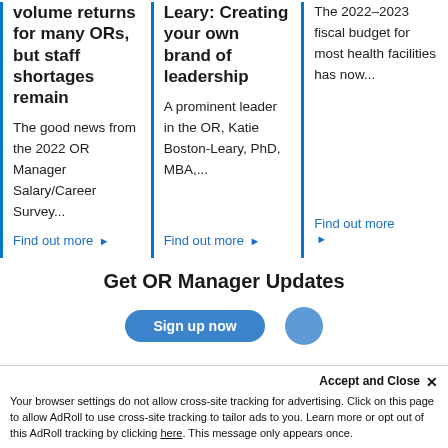volume returns for many ORs, but staff shortages remain
The good news from the 2022 OR Manager Salary/Career Survey...
Find out more ▶
Leary: Creating your own brand of leadership
A prominent leader in the OR, Katie Boston-Leary, PhD, MBA,...
Find out more ▶
The 2022–2023 fiscal budget for most health facilities has now...
Find out more ▶
Get OR Manager Updates
Your browser settings do not allow cross-site tracking for advertising. Click on this page to allow AdRoll to use cross-site tracking to tailor ads to you. Learn more or opt out of this AdRoll tracking by clicking here. This message only appears once.